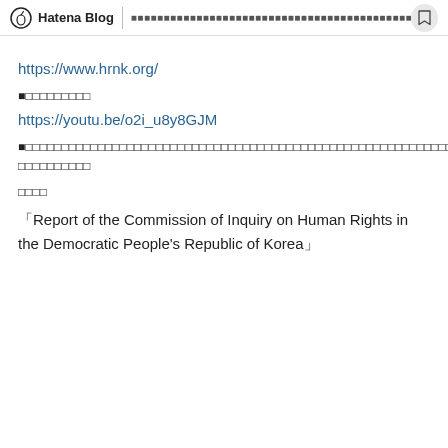Hatena Blog | [Japanese text]
https://www.hrnk.org/
■[Japanese text]
https://youtu.be/o2i_u8y8GJM
■[Japanese text - long line] [Japanese text continuation]
[Japanese text]
「Report of the Commission of Inquiry on Human Rights in the Democratic People's Republic of Korea」